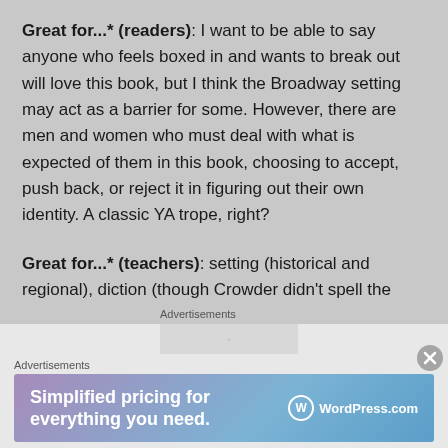Great for...* (readers): I want to be able to say anyone who feels boxed in and wants to break out will love this book, but I think the Broadway setting may act as a barrier for some. However, there are men and women who must deal with what is expected of them in this book, choosing to accept, push back, or reject it in figuring out their own identity. A classic YA trope, right?
Great for...* (teachers): setting (historical and regional), diction (though Crowder didn't spell the accent in, the accent can be heard), allusion, character study, hopes/dreams project and planning
Advertisements
Advertisements
[Figure (screenshot): WordPress.com advertisement banner with text 'Simplified pricing for everything you need.' and WordPress.com logo on gradient purple-blue background]